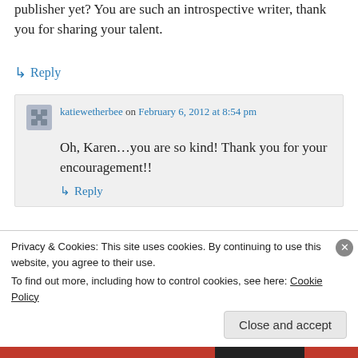publisher yet? You are such an introspective writer, thank you for sharing your talent.
↳ Reply
katiewetherbee on February 6, 2012 at 8:54 pm
Oh, Karen…you are so kind! Thank you for your encouragement!!
↳ Reply
Privacy & Cookies: This site uses cookies. By continuing to use this website, you agree to their use.
To find out more, including how to control cookies, see here: Cookie Policy